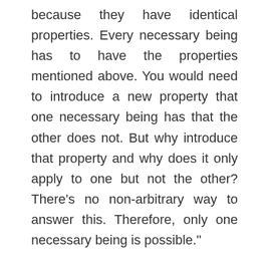because they have identical properties. Every necessary being has to have the properties mentioned above. You would need to introduce a new property that one necessary being has that the other does not. But why introduce that property and why does it only apply to one but not the other? There’s no non-arbitrary way to answer this. Therefore, only one necessary being is possible.”
First, this assumes the inference to simplicity, which we’ve already seen fails.
Second, this is incompatible with Trinitarianism. Consider: